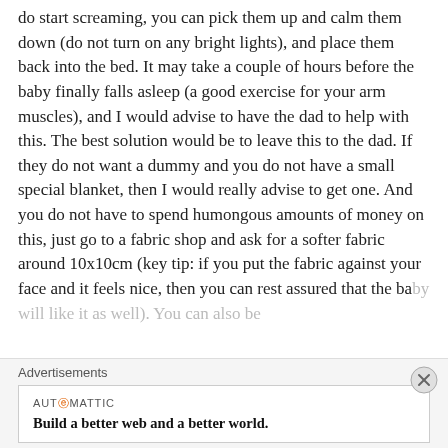do start screaming, you can pick them up and calm them down (do not turn on any bright lights), and place them back into the bed. It may take a couple of hours before the baby finally falls asleep (a good exercise for your arm muscles), and I would advise to have the dad to help with this. The best solution would be to leave this to the dad. If they do not want a dummy and you do not have a small special blanket, then I would really advise to get one. And you do not have to spend humongous amounts of money on this, just go to a fabric shop and ask for a softer fabric around 10x10cm (key tip: if you put the fabric against your face and it feels nice, then you can rest assured that the baby will like it as well). You can also be
Advertisements
[Figure (other): Automattic advertisement banner with text 'Build a better web and a better world.']